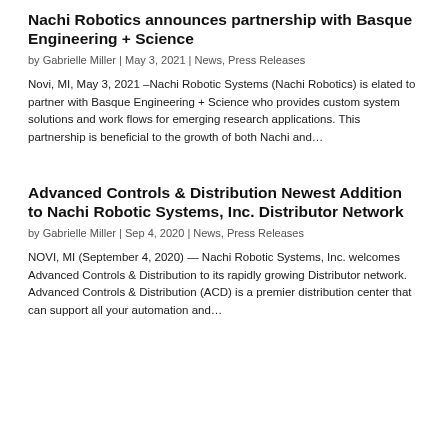Nachi Robotics announces partnership with Basque Engineering + Science
by Gabrielle Miller | May 3, 2021 | News, Press Releases
Novi, MI, May 3, 2021 –Nachi Robotic Systems (Nachi Robotics) is elated to partner with Basque Engineering + Science who provides custom system solutions and work flows for emerging research applications. This partnership is beneficial to the growth of both Nachi and...
Advanced Controls & Distribution Newest Addition to Nachi Robotic Systems, Inc. Distributor Network
by Gabrielle Miller | Sep 4, 2020 | News, Press Releases
NOVI, MI (September 4, 2020) — Nachi Robotic Systems, Inc. welcomes Advanced Controls & Distribution to its rapidly growing Distributor network. Advanced Controls & Distribution (ACD) is a premier distribution center that can support all your automation and...